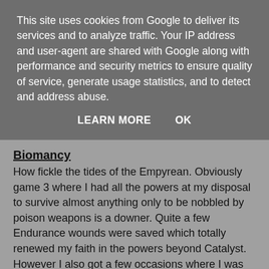This site uses cookies from Google to deliver its services and to analyze traffic. Your IP address and user-agent are shared with Google along with performance and security metrics to ensure quality of service, generate usage statistics, and to detect and address abuse.
LEARN MORE    OK
Biomancy
How fickle the tides of the Empyrean. Obviously game 3 where I had all the powers at my disposal to survive almost anything only to be nobbled by poison weapons is a downer. Quite a few Endurance wounds were saved which totally renewed my faith in the powers beyond Catalyst. However I also got a few occasions where I was stuck with Haemorrhage AND Life Leech, was resigned to using them and they may have been effective too but as far as I can recall didn't bother! I also suffered a 1 in 5 Witchfire for my Broodlord with only one game where he traded his powers only to get nothing in return. Sorry but this sucks, I still don't get it and I still don't get why its FAQed that way. If I roll